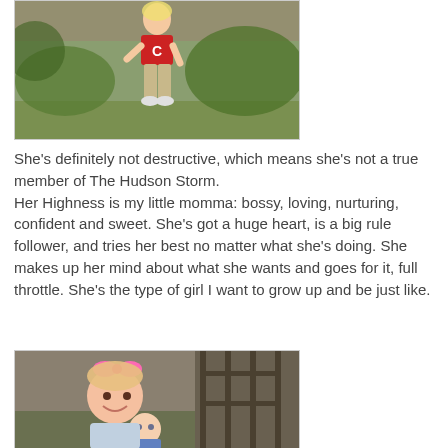[Figure (photo): A young girl in a red shirt with 'C' logo and khaki pants posing outdoors near brick wall and bushes]
She's definitely not destructive, which means she's not a true member of The Hudson Storm.
Her Highness is my little momma: bossy, loving, nurturing, confident and sweet. She's got a huge heart, is a big rule follower, and tries her best no matter what she's doing. She makes up her mind about what she wants and goes for it, full throttle. She's the type of girl I want to grow up and be just like.
[Figure (photo): A smiling young girl with a pink bow in her hair and a baby, sitting outdoors near a fence]